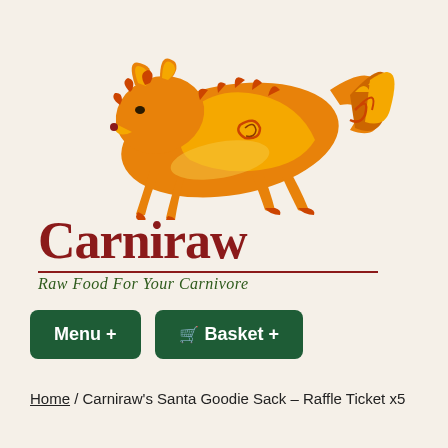[Figure (logo): Carniraw brand logo featuring a stylized orange and yellow fox/wolf leaping, with decorative swirl patterns in the fur. Below the animal is the text 'Carniraw' in dark red serif font with a horizontal rule, and beneath that 'Raw Food For Your Carnivore' in green italic text.]
Menu +
Basket +
Home / Carniraw's Santa Goodie Sack – Raffle Ticket x5